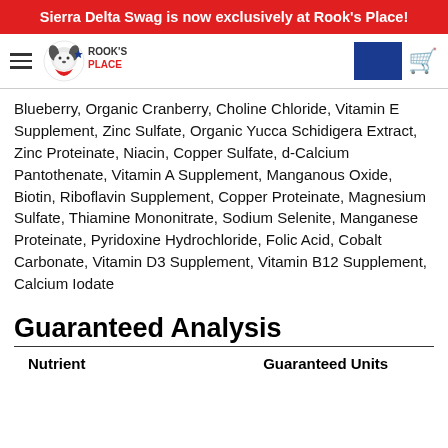Sierra Delta Swag is now exclusively at Rook's Place!
Blueberry, Organic Cranberry, Choline Chloride, Vitamin E Supplement, Zinc Sulfate, Organic Yucca Schidigera Extract, Zinc Proteinate, Niacin, Copper Sulfate, d-Calcium Pantothenate, Vitamin A Supplement, Manganous Oxide, Biotin, Riboflavin Supplement, Copper Proteinate, Magnesium Sulfate, Thiamine Mononitrate, Sodium Selenite, Manganese Proteinate, Pyridoxine Hydrochloride, Folic Acid, Cobalt Carbonate, Vitamin D3 Supplement, Vitamin B12 Supplement, Calcium Iodate
Guaranteed Analysis
| Nutrient | Guaranteed Units |
| --- | --- |